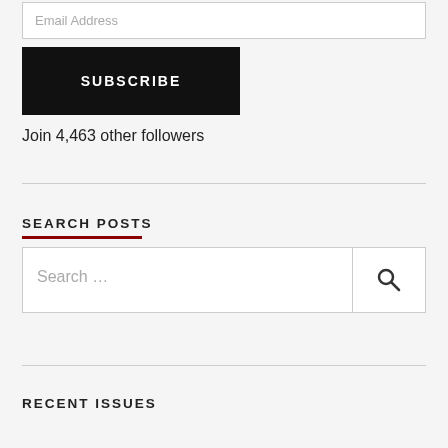Email Address
SUBSCRIBE
Join 4,463 other followers
SEARCH POSTS
Search …
RECENT ISSUES